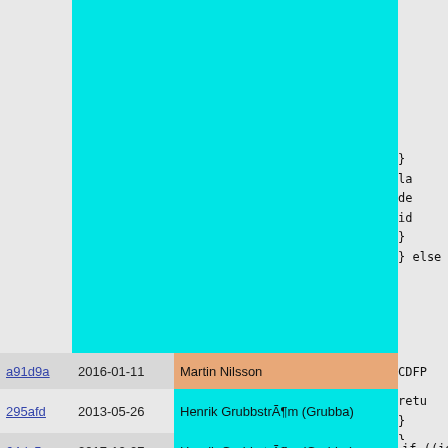| Hash | Date | Author |
| --- | --- | --- |
| a91d9a | 2016-01-11 | Martin Nilsson |
| 295afd | 2013-05-26 | Henrik GrubbstrÃ¶m (Grubba) |
| 64dc5e | 2017-12-07 | Henrik GrubbstrÃ¶m (Grubba) |
| 3da5e9 | 2017-12-20 | Henrik GrubbstrÃ¶m (Grubba) |
| 64dc5e | 2017-12-07 | Henrik GrubbstrÃ¶m (Grubba) |
[Figure (screenshot): Code snippet visible on right side showing: } la de id } } else, CDFP, retu } }, if ((id, if (Pi // U // i // h yyty }, id = t]